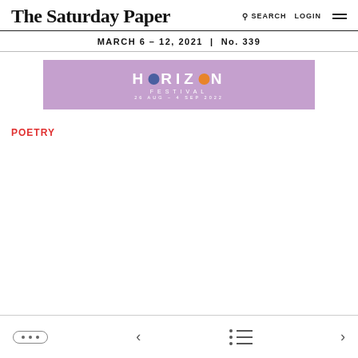The Saturday Paper
SEARCH LOGIN
MARCH 6 – 12, 2021 | No. 339
[Figure (illustration): Horizon Festival advertisement banner. Purple/mauve background with white text reading HORIZON FESTIVAL 26 AUG – 4 SEP 2022. The O in HORIZON is a blue circle, the O in HORIZON second position is an orange circle.]
POETRY